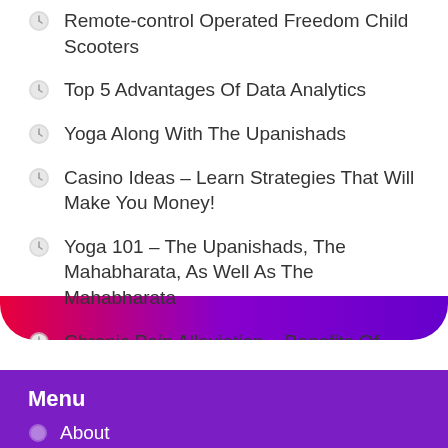Remote-control Operated Freedom Child Scooters
Top 5 Advantages Of Data Analytics
Yoga Along With The Upanishads
Casino Ideas – Learn Strategies That Will Make You Money!
Yoga 101 – The Upanishads, The Mahabharata, As Well As The Mahabharata
Chronic Pain Alleviation – Benefits Of Marijuana
Menu
About